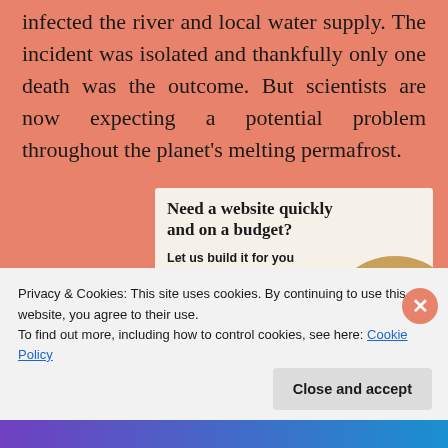infected the river and local water supply. The incident was isolated and thankfully only one death was the outcome. But scientists are now expecting a potential problem throughout the planet's melting permafrost.
[Figure (screenshot): Advertisement banner: 'Need a website quickly and on a budget? Let us build it for you' with a 'Let's get started' button and a circular photo of a person using a laptop]
Privacy & Cookies: This site uses cookies. By continuing to use this website, you agree to their use.
To find out more, including how to control cookies, see here: Cookie Policy
Close and accept